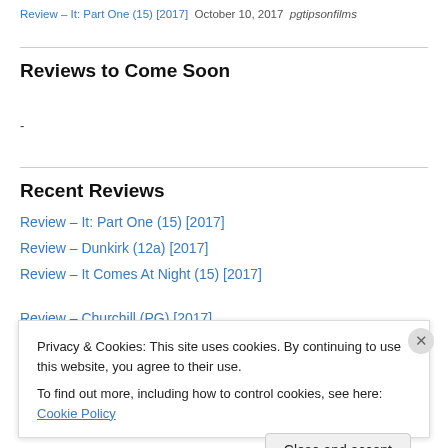Review – It: Part One (15) [2017]  October 10, 2017  pgtipsonfilms
Reviews to Come Soon
-
Recent Reviews
Review – It: Part One (15) [2017]
Review – Dunkirk (12a) [2017]
Review – It Comes At Night (15) [2017]
Review – Churchill (PG) [2017]
Privacy & Cookies: This site uses cookies. By continuing to use this website, you agree to their use.
To find out more, including how to control cookies, see here: Cookie Policy
Close and accept